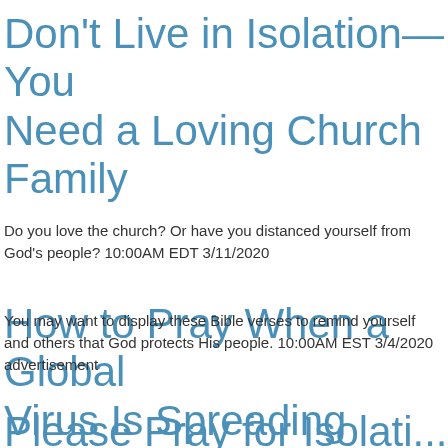Don't Live in Isolation—You Need a Loving Church Family
Do you love the church? Or have you distanced yourself from God's people? 10:00AM EDT 3/11/2020
How to Pray When a Global Virus Is Spreading
You may want to display these Bible verses to remind yourself and others that God protects His people. 10:00AM EST 3/4/2020 advertisement
Please Pray for Isolati…